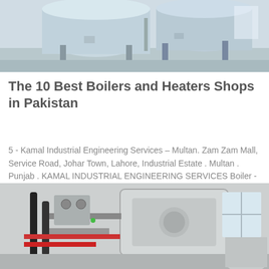[Figure (photo): Industrial boilers and heaters in a factory warehouse setting, showing large cylindrical tank machinery.]
The 10 Best Boilers and Heaters Shops in Pakistan
5 - Kamal Industrial Engineering Services – Multan. Zam Zam Mall, Service Road, Johar Town, Lahore, Industrial Estate . Multan . Punjab . KAMAL INDUSTRIAL ENGINEERING SERVICES Boiler - Tanks – Heat...
[Figure (photo): Industrial boiler machinery with pipes, gauges and metal equipment in an industrial building.]